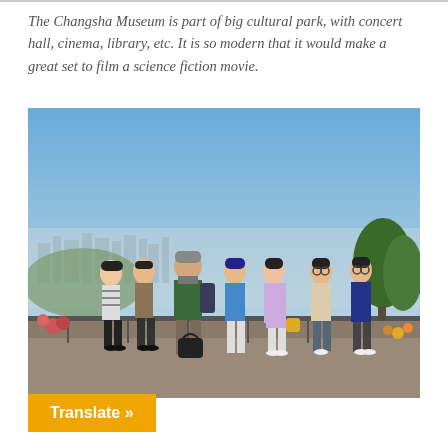The Changsha Museum is part of big cultural park, with concert hall, cinema, library, etc. It is so modern that it would make a great set to film a science fiction movie.
[Figure (photo): Group of seven people posing outdoors on an elevated viewpoint overlooking a city skyline. The group includes one older Western man in a green shirt and six younger Asian individuals. There are trees and a fence behind them, with a hazy cityscape and blue sky in the background.]
Translate »